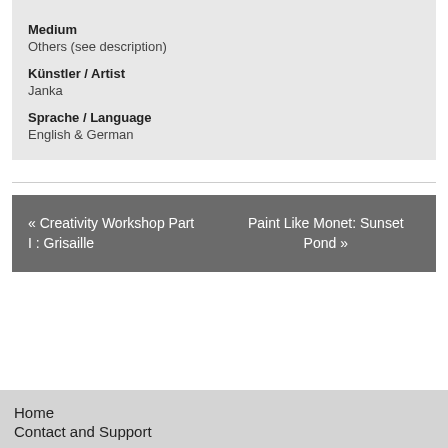Medium
Others (see description)
Künstler / Artist
Janka
Sprache / Language
English & German
« Creativity Workshop Part I : Grisaille
Paint Like Monet: Sunset Pond »
Home
Contact and Support